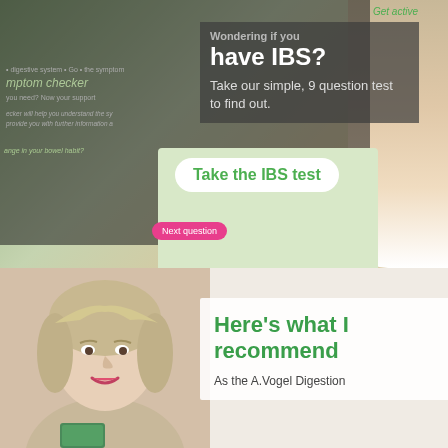[Figure (screenshot): Screenshot of IBS test webpage displayed on a tablet, showing 'Wondering if you have IBS? Take our simple, 9 question test to find out.' with a 'Take the IBS test' button, overlaid on a photo of hands holding a tablet]
Wondering if you have IBS?
Take our simple, 9 question test to find out.
Take the IBS test
[Figure (photo): Woman with short blonde hair smiling, holding a product box]
Here’s what I recommend
As the A.Vogel Digestion